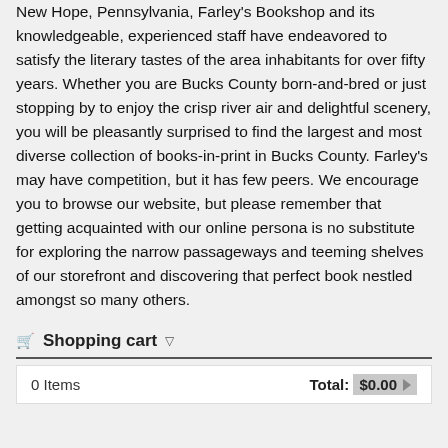New Hope, Pennsylvania, Farley's Bookshop and its knowledgeable, experienced staff have endeavored to satisfy the literary tastes of the area inhabitants for over fifty years. Whether you are Bucks County born-and-bred or just stopping by to enjoy the crisp river air and delightful scenery, you will be pleasantly surprised to find the largest and most diverse collection of books-in-print in Bucks County. Farley's may have competition, but it has few peers. We encourage you to browse our website, but please remember that getting acquainted with our online persona is no substitute for exploring the narrow passageways and teeming shelves of our storefront and discovering that perfect book nestled amongst so many others.
Shopping cart
| Items | Total |
| --- | --- |
| 0 Items | $0.00 |